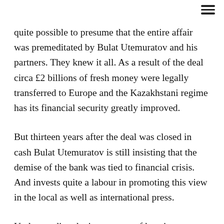≡
quite possible to presume that the entire affair was premeditated by Bulat Utemuratov and his partners. They knew it all. As a result of the deal circa £2 billions of fresh money were legally transferred to Europe and the Kazakhstani regime has its financial security greatly improved.
But thirteen years after the deal was closed in cash Bulat Utemuratov is still insisting that the demise of the bank was tied to financial crisis. And invests quite a labour in promoting this view in the local as well as international press.
Understanding the importance of keeping appearances up he bought several news outlets. Local press is flooding in his PR stunts. Informbyuro, one of the media under his